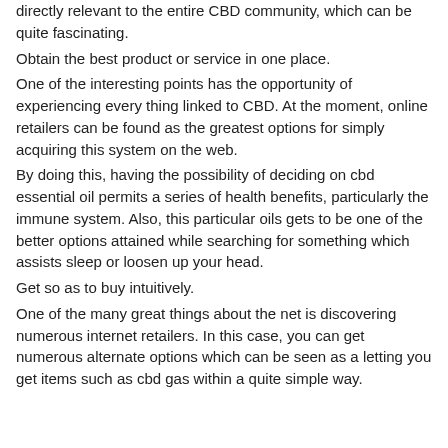directly relevant to the entire CBD community, which can be quite fascinating.
Obtain the best product or service in one place.
One of the interesting points has the opportunity of experiencing every thing linked to CBD. At the moment, online retailers can be found as the greatest options for simply acquiring this system on the web.
By doing this, having the possibility of deciding on cbd essential oil permits a series of health benefits, particularly the immune system. Also, this particular oils gets to be one of the better options attained while searching for something which assists sleep or loosen up your head.
Get so as to buy intuitively.
One of the many great things about the net is discovering numerous internet retailers. In this case, you can get numerous alternate options which can be seen as a letting you get items such as cbd gas within a quite simple way.